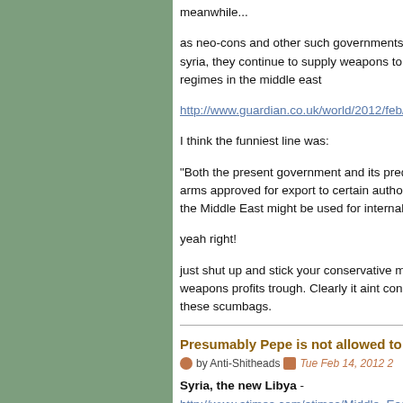meanwhile...
as neo-cons and other such governments s syria, they continue to supply weapons to s regimes in the middle east
http://www.guardian.co.uk/world/2012/feb/1
I think the funniest line was:
"Both the present government and its pred arms approved for export to certain authori the Middle East might be used for internal
yeah right!
just shut up and stick your conservative mi weapons profits trough. Clearly it aint conc these scumbags.
Presumably Pepe is not allowed to b
by Anti-Shitheads   Tue Feb 14, 2012 2
Syria, the new Libya - http://www.atimes.com/atimes/Middle_Eas Pepe Escobar, Asia Times, Feb 13 2012
A Kalashnikov in Iraq, until recently, sold fo